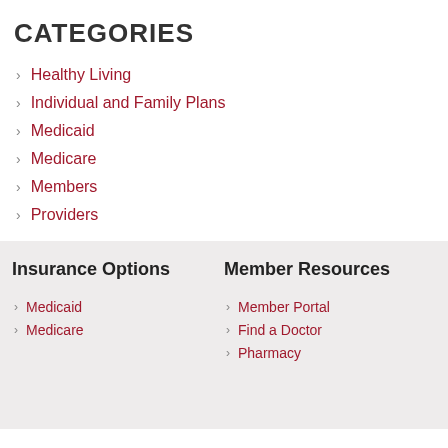CATEGORIES
Healthy Living
Individual and Family Plans
Medicaid
Medicare
Members
Providers
Insurance Options
Medicaid
Medicare
Member Resources
Member Portal
Find a Doctor
Pharmacy